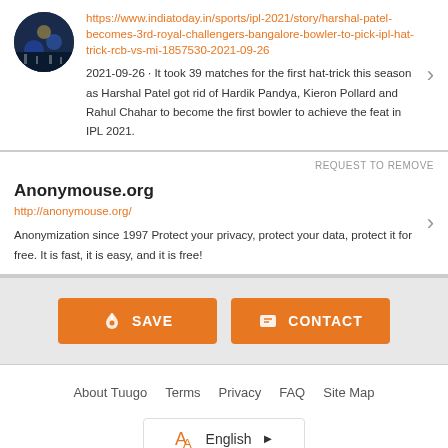https://www.indiatoday.in/sports/ipl-2021/story/harshal-patel-becomes-3rd-royal-challengers-bangalore-bowler-to-pick-ipl-hat-trick-rcb-vs-mi-1857530-2021-09-26
2021-09-26 · It took 39 matches for the first hat-trick this season as Harshal Patel got rid of Hardik Pandya, Kieron Pollard and Rahul Chahar to become the first bowler to achieve the feat in IPL 2021.
REQUEST TO REMOVE
Anonymouse.org
http://anonymouse.org/
Anonymization since 1997 Protect your privacy, protect your data, protect it for free. It is fast, it is easy, and it is free!
SAVE
CONTACT
About Tuugo  Terms  Privacy  FAQ  Site Map
English